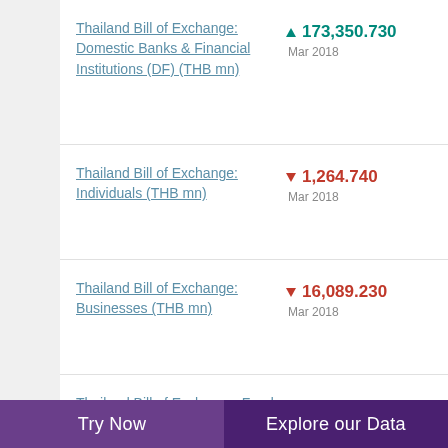Thailand Bill of Exchange: Domestic Banks & Financial Institutions (DF) (THB mn) — ▲ 173,350.730 — Mar 2018
Thailand Bill of Exchange: Individuals (THB mn) — ▼ 1,264.740 — Mar 2018
Thailand Bill of Exchange: Businesses (THB mn) — ▼ 16,089.230 — Mar 2018
Thailand Bill of Exchange: Funds (THB mn) — 0.000 — Mar 2018
Thailand Bill of Exchange:
Try Now | Explore our Data